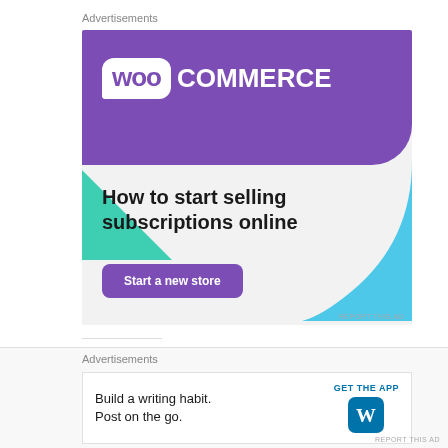Advertisements
[Figure (illustration): WooCommerce advertisement banner: purple header with WooCommerce logo, green triangle shape on left, blue curved shape on right, text 'How to start selling subscriptions online', and a purple 'Start a new store' button]
REPORT THIS AD
Share this:
Twitter   Facebook   Pinterest   Email
Advertisements
[Figure (illustration): WordPress app advertisement: 'Build a writing habit. Post on the go.' with GET THE APP link and WordPress logo icon]
REPORT THIS AD